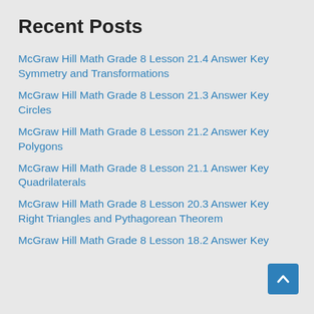Recent Posts
McGraw Hill Math Grade 8 Lesson 21.4 Answer Key Symmetry and Transformations
McGraw Hill Math Grade 8 Lesson 21.3 Answer Key Circles
McGraw Hill Math Grade 8 Lesson 21.2 Answer Key Polygons
McGraw Hill Math Grade 8 Lesson 21.1 Answer Key Quadrilaterals
McGraw Hill Math Grade 8 Lesson 20.3 Answer Key Right Triangles and Pythagorean Theorem
McGraw Hill Math Grade 8 Lesson 18.2 Answer Key